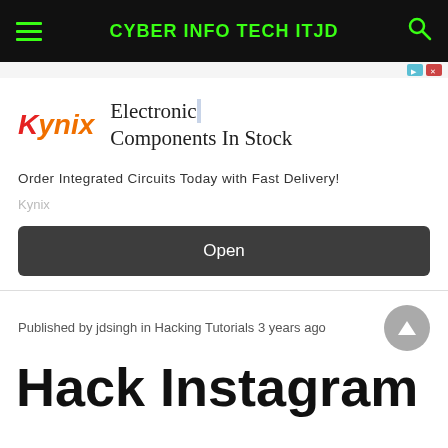CYBER INFO TECH ITJD
[Figure (logo): Kynix advertisement banner with Kynix logo and text 'Electronic Components In Stock', tagline 'Order Integrated Circuits Today with Fast Delivery!', brand 'Kynix', and an Open button]
Published by jdsingh in Hacking Tutorials 3 years ago
Hack Instagram